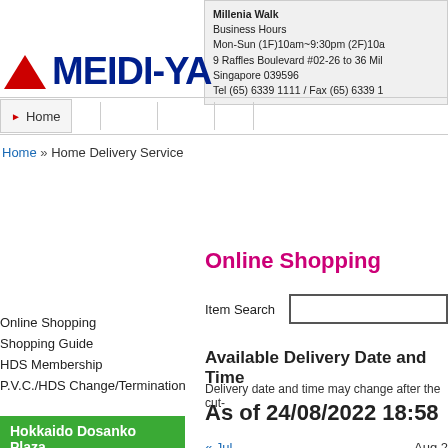[Figure (logo): MEIDI-YA logo with red triangle and dark blue text]
Millenia Walk
Business Hours
Mon-Sun (1F)10am~9:30pm (2F)10a...
9 Raffles Boulevard #02-26 to 36 Mil...
Singapore 039596
Tel (65) 6339 1111 / Fax (65) 6339 1...
Home
Home » Home Delivery Service
Online Shopping
Item Search
Online Shopping
Shopping Guide
HDS Membership
P.V.C./HDS Change/Termination
Available Delivery Date and Time
Delivery date and time may change after the cut-...
As of 24/08/2022 18:58
Hokkaido Dosanko Plaza
Limited-quantity products at the
Hokkaido Fair
« Jul   Aug 2...